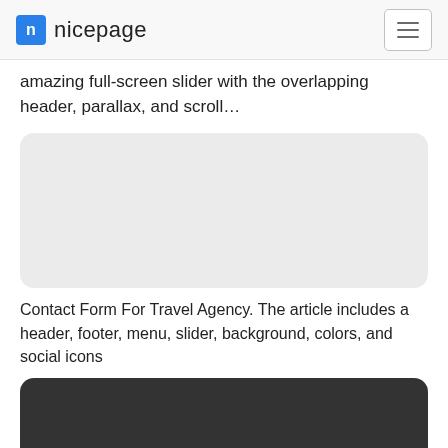nicepage
amazing full-screen slider with the overlapping header, parallax, and scroll…
[Figure (screenshot): Light grey rounded rectangle card image placeholder]
Contact Form For Travel Agency. The article includes a header, footer, menu, slider, background, colors, and social icons
[Figure (screenshot): Dark grey rounded rectangle card image placeholder (partially visible)]